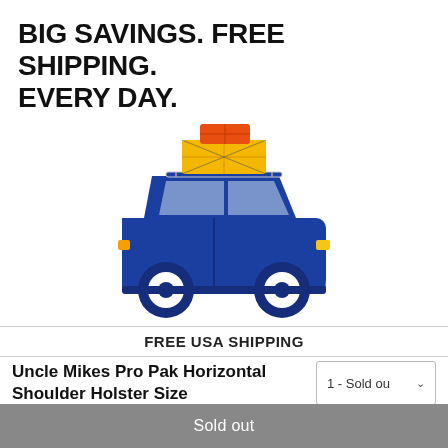BIG SAVINGS. FREE SHIPPING. EVERY DAY.
[Figure (illustration): Cartoon blue SUV with luggage/boxes strapped to the roof rack — a free shipping promotional illustration.]
FREE USA SHIPPING
Uncle Mikes Pro Pak Horizontal Shoulder Holster Size
1 - Sold ou
Sold out